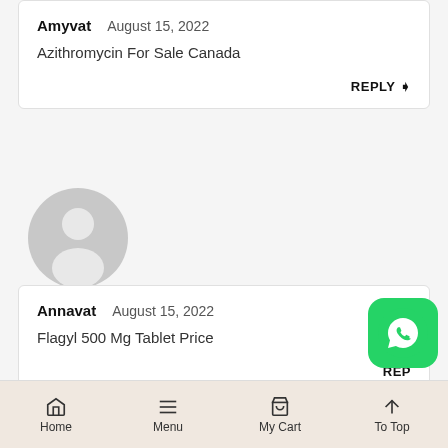Amyvat   August 15, 2022
Azithromycin For Sale Canada
REPLY
[Figure (illustration): Gray default user avatar icon — a circle with a person silhouette]
Annavat   August 15, 2022
Flagyl 500 Mg Tablet Price
REP...
[Figure (logo): WhatsApp green icon button]
Home   Menu   My Cart   To Top